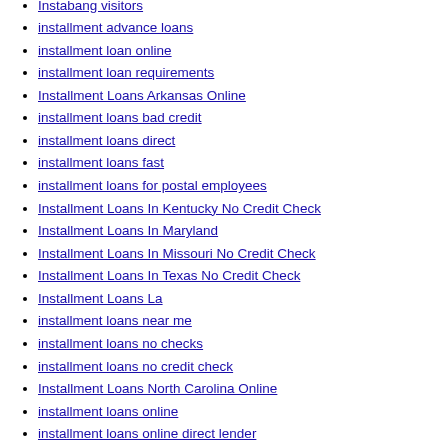Instabang visitors
installment advance loans
installment loan online
installment loan requirements
Installment Loans Arkansas Online
installment loans bad credit
installment loans direct
installment loans fast
installment loans for postal employees
Installment Loans In Kentucky No Credit Check
Installment Loans In Maryland
Installment Loans In Missouri No Credit Check
Installment Loans In Texas No Credit Check
Installment Loans La
installment loans near me
installment loans no checks
installment loans no credit check
Installment Loans North Carolina Online
installment loans online
installment loans online direct lender
Installment Loans Online Idaho
Installment Loans Online In California
Installment Loans Online In Colorado
Installment Loans Online In Hawaii
Installment Loans Online In Illinois